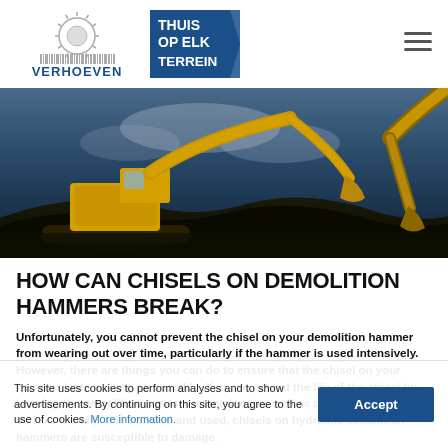[Figure (logo): Verhoeven company logo with sun/gear emblem and blue text, alongside 'THUIS OP ELK TERREIN' blue badge]
[Figure (photo): Hero image of two large yellow excavators working on a construction/demolition site against a dramatic dark sky]
HOW CAN CHISELS ON DEMOLITION HAMMERS BREAK?
Unfortunately, you cannot prevent the chisel on your demolition hammer from wearing out over time, particularly if the hammer is used intensively. However, there are things you can do to ensure that the chisel on your hammer lasts as long as possible. You can extend the life of the chisel by keeping the demolition hammer maintained as well as possible. Depending on how the chisel is handled and used, chisels on hydraulic demolition hammers are susceptible to damage.
This site uses cookies to perform analyses and to show advertisements. By continuing on this site, you agree to the use of cookies. More information.